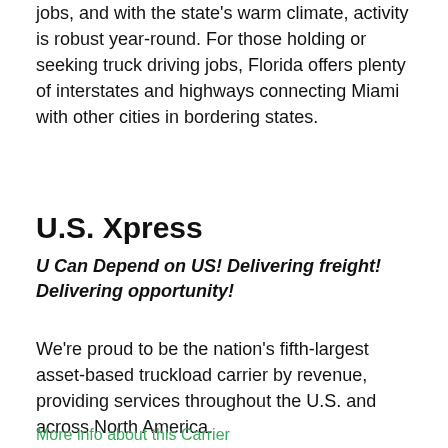jobs, and with the state's warm climate, activity is robust year-round. For those holding or seeking truck driving jobs, Florida offers plenty of interstates and highways connecting Miami with other cities in bordering states.
U.S. Xpress
U Can Depend on US! Delivering freight! Delivering opportunity!
We're proud to be the nation's fifth-largest asset-based truckload carrier by revenue, providing services throughout the U.S. and across North America.
More info about this Carrier